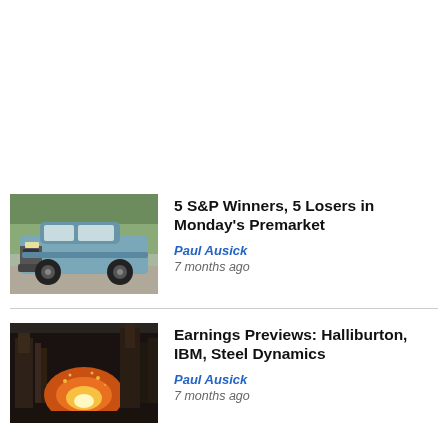[Figure (photo): Photo of a blue Ford Bronco SUV parked outdoors with trees in the background]
5 S&P Winners, 5 Losers in Monday's Premarket
Paul Ausick
7 months ago
[Figure (photo): Photo of an industrial steel plant or foundry with orange glowing fire and industrial equipment]
Earnings Previews: Halliburton, IBM, Steel Dynamics
Paul Ausick
7 months ago